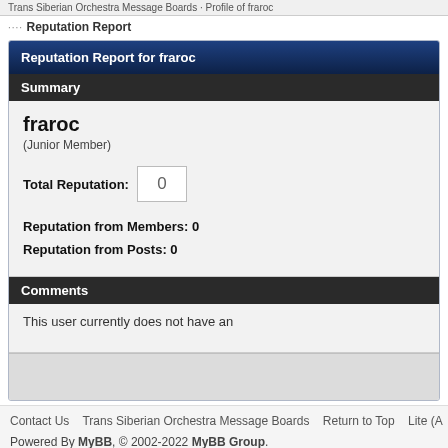Trans Siberian Orchestra Message Boards · Profile of fraroc
Reputation Report
Reputation Report for fraroc
Summary
fraroc
(Junior Member)
Total Reputation: 0
Reputation from Members: 0
Reputation from Posts: 0
Comments
This user currently does not have an
Contact Us   Trans Siberian Orchestra Message Boards   Return to Top   Lite (A
Powered By MyBB, © 2002-2022 MyBB Group.